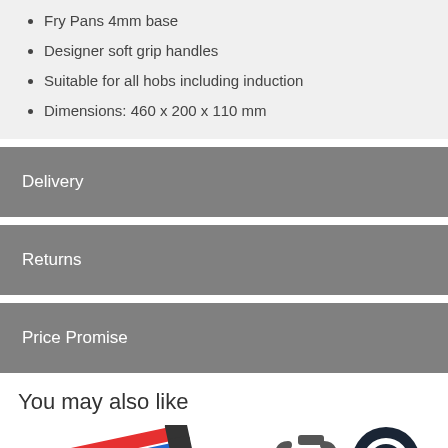Fry Pans 4mm base
Designer soft grip handles
Suitable for all hobs including induction
Dimensions: 460 x 200 x 110 mm
Delivery
Returns
Price Promise
You may also like
[Figure (photo): Colorful soft grip handles product thumbnail on the left side]
[Figure (photo): Carabiner clip product thumbnail with dark chat bubble icon overlay on the right side]